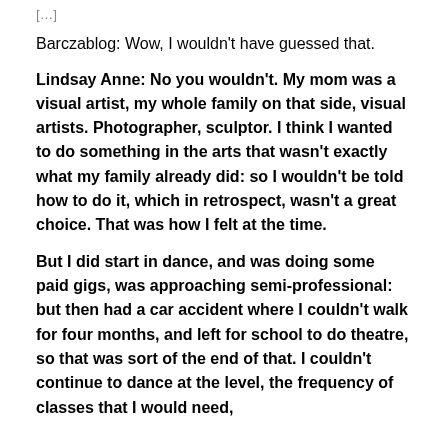[truncated top text partially visible]
Barczablog: Wow, I wouldn’t have guessed that.
Lindsay Anne: No you wouldn’t. My mom was a visual artist, my whole family on that side, visual artists. Photographer, sculptor. I think I wanted to do something in the arts that wasn’t exactly what my family already did: so I wouldn’t be told how to do it, which in retrospect, wasn’t a great choice. That was how I felt at the time.
But I did start in dance, and was doing some paid gigs, was approaching semi-professional: but then had a car accident where I couldn’t walk for four months, and left for school to do theatre, so that was sort of the end of that. I couldn’t continue to dance at the level, the frequency of classes that I would need,